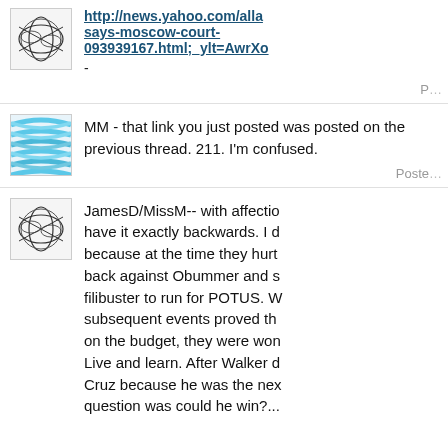[Figure (illustration): Abstract avatar with overlapping ellipses/curves on white background]
http://news.yahoo.com/alla...says-moscow-court-093939167.html;_ylt=AwrXo...
-
Posted
[Figure (illustration): Avatar with blue wavy horizontal stripes]
MM - that link you just posted was posted on the previous thread. 211. I'm confused.
Posted
[Figure (illustration): Abstract avatar with overlapping ellipses/curves on white background]
JamesD/MissM-- with affection... have it exactly backwards. I d... because at the time they hurt... back against Obummer and s... filibuster to run for POTUS. W... subsequent events proved th... on the budget, they were won... Live and learn. After Walker d... Cruz because he was the nex... question was could he win?...